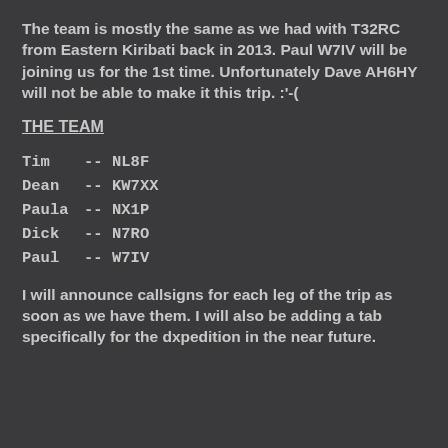The team is mostly the same as we had with T32RC from Eastern Kiribati back in 2013. Paul W7IV will be joining us for the 1st time. Unfortunately Dave AH6HY will not be able to make it this trip. :'-(
THE TEAM
Tim   --  NL8F
Dean  --  KW7XX
Paula --  NX1P
Dick  --  N7RO
Paul  --  W7IV
I will announce callsigns for each leg of the trip as soon as we have them. I will also be adding a tab specifically for the dxpedition in the near future.